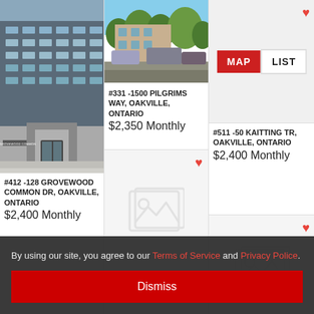[Figure (photo): Exterior photo of 128 Grovewood Common building - modern multi-story residential]
#412 -128 GROVEWOOD COMMON DR, OAKVILLE, ONTARIO
$2,400 Monthly
[Figure (photo): Street photo of 1500 Pilgrims Way, Oakville - residential building with trees]
#331 -1500 PILGRIMS WAY, OAKVILLE, ONTARIO
$2,350 Monthly
[Figure (photo): Placeholder image for unlisted property]
[Figure (screenshot): MAP / LIST toggle buttons interface element]
#511 -50 KAITTING TR, OAKVILLE, ONTARIO
$2,400 Monthly
[Figure (photo): Placeholder image for unlisted property (bottom right)]
By using our site, you agree to our Terms of Service and Privacy Police.
Dismiss